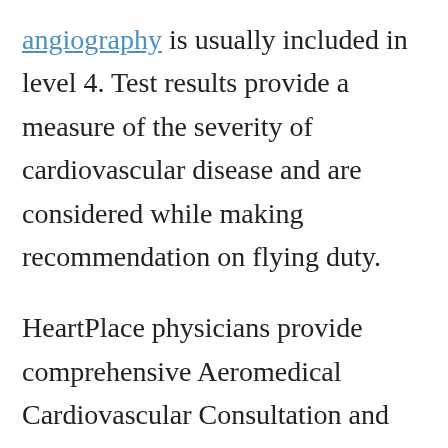angiography is usually included in level 4. Test results provide a measure of the severity of cardiovascular disease and are considered while making recommendation on flying duty.
HeartPlace physicians provide comprehensive Aeromedical Cardiovascular Consultation and Management services. We have the most advanced and latest diagnostic imaging technologies that enable early detection of